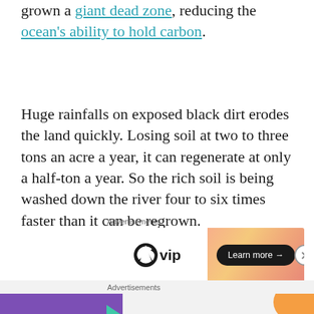grown a giant dead zone, reducing the ocean's ability to hold carbon.
Huge rainfalls on exposed black dirt erodes the land quickly. Losing soil at two to three tons an acre a year, it can regenerate at only a half-ton a year. So the rich soil is being washed down the river four to six times faster than it can be regrown.
[Figure (other): WordPress VIP advertisement banner with orange gradient background and 'Learn more' button]
[Figure (other): WooCommerce advertisement banner with purple background, teal arrow, orange and blue decorative shapes, text 'How to start selling subscriptions online']